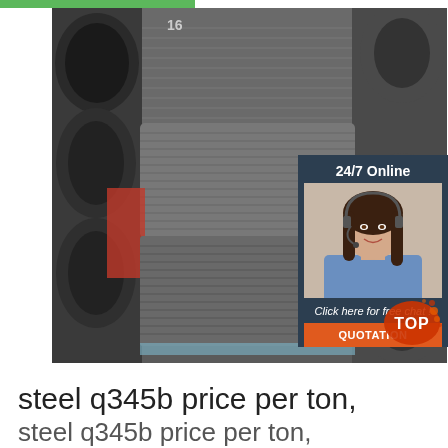[Figure (photo): Stacked coils of steel wire rod in a warehouse/industrial setting. Large grey/silver wire coils are stacked on top of each other. Some red packaging is visible. Numbers visible on the coils.]
[Figure (photo): 24/7 Online customer service panel with a woman wearing a headset smiling, with text 'Click here for free chat!' and an orange QUOTATION button.]
[Figure (illustration): Orange and red paint-splash TOP badge in bottom right corner.]
steel q345b price per ton, steel q345b price per ton,